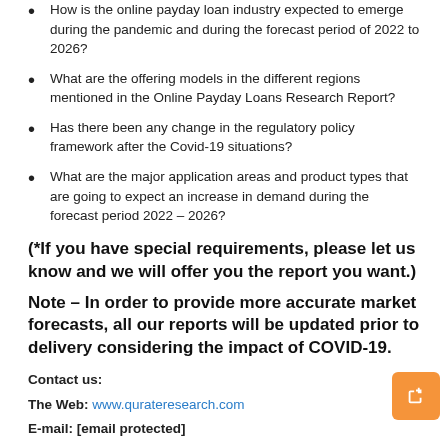How is the online payday loan industry expected to emerge during the pandemic and during the forecast period of 2022 to 2026?
What are the offering models in the different regions mentioned in the Online Payday Loans Research Report?
Has there been any change in the regulatory policy framework after the Covid-19 situations?
What are the major application areas and product types that are going to expect an increase in demand during the forecast period 2022 – 2026?
(*If you have special requirements, please let us know and we will offer you the report you want.)
Note – In order to provide more accurate market forecasts, all our reports will be updated prior to delivery considering the impact of COVID-19.
Contact us:
The Web: www.qurateresearch.com
E-mail: [email protected]